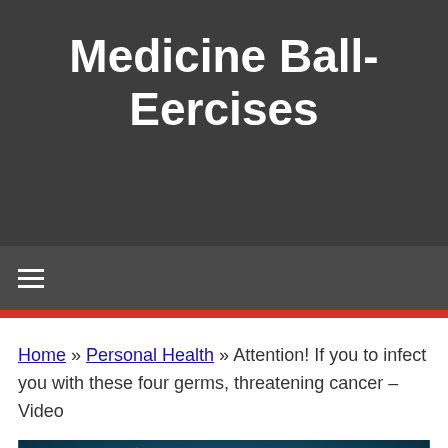Medicine Ball-Eercises
≡
Home » Personal Health » Attention! If you to infect you with these four germs, threatening cancer – Video
[Figure (photo): Microscopic image of cancer cells (red and orange spiky cells) against a dark teal background with glowing effects]